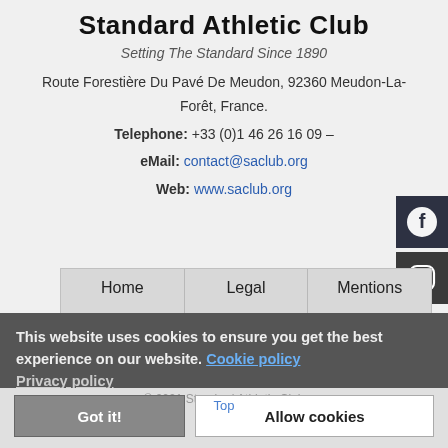Standard Athletic Club
Setting The Standard Since 1890
Route Forestière Du Pavé De Meudon, 92360 Meudon-La-Forêt, France.
Telephone: +33 (0)1 46 26 16 09 –
eMail: contact@saclub.org
Web: www.saclub.org
[Figure (logo): Facebook icon on dark background]
[Figure (logo): Instagram icon on dark background]
Home
Legal
Mentions
This website uses cookies to ensure you get the best experience on our website. Cookie policy
Privacy policy
© 2021 Standard Athletic Club